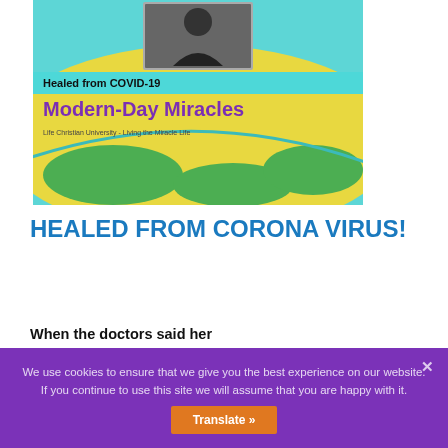[Figure (illustration): Banner image for 'Healed from COVID-19 - Modern-Day Miracles' from Life Christian University - Living the Miracle Life. Colorful teal, yellow, and green background with globe arc at bottom and a photo of a speaker at top center. Text includes 'Healed from COVID-19' in a teal bar and 'Modern-Day Miracles' in purple bold text.]
HEALED FROM CORONA VIRUS!
When the doctors said her
grandmother was not going to make it, she decided to seek God for herself. She sought God, joining her faith with her grandfather's faith. And things turned around miraculously.
We use cookies to ensure that we give you the best experience on our website. If you continue to use this site we will assume that you are happy with it.
Translate »